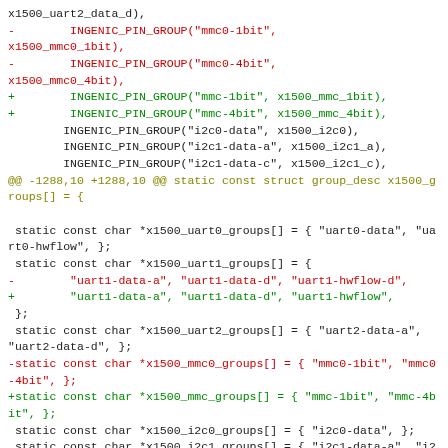Code diff showing changes to pin group definitions in a Linux kernel driver file, including INGENIC_PIN_GROUP macro calls and static const char arrays for uart, mmc, and i2c groups.